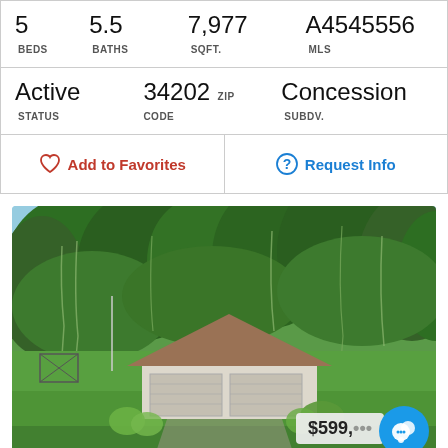| 5 BEDS | 5.5 BATHS | 7,977 SQFT. | A4545556 MLS |
| Active STATUS | 34202 ZIP CODE | Concession SUBDV. |  |
Add to Favorites | Request Info
[Figure (photo): Exterior photo of a single-story ranch-style home with brown roof, white/beige walls, two-car garage, surrounded by large oak trees with Spanish moss, lush green lawn in foreground. Price overlay showing $599,000 in bottom right corner.]